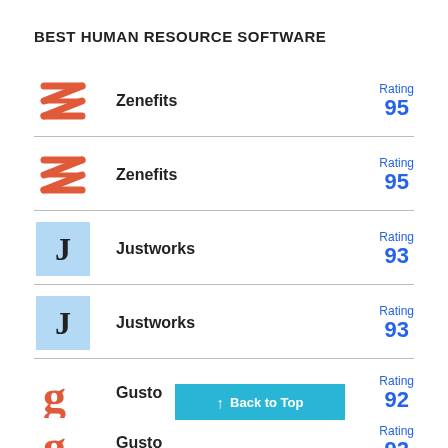BEST HUMAN RESOURCE SOFTWARE
Zenefits — Rating 95
Zenefits — Rating 95
Justworks — Rating 93
Justworks — Rating 93
Gusto — Rating 92
Gusto — Rating 92